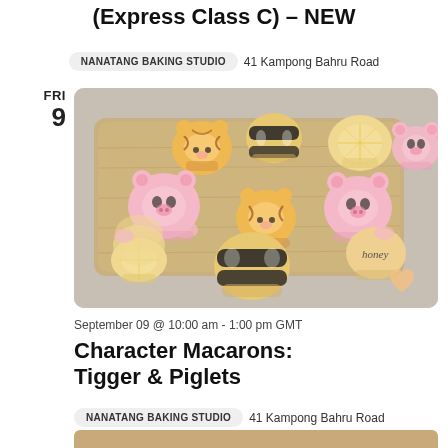(Express Class C) – NEW
NANATANG BAKING STUDIO   41 Kampong Bahru Road
FRI
9
[Figure (photo): A wooden tray with decorated character macarons including bee-shaped, tiger (Tigger), piglet, and lemon-slice shaped macarons on a light grey background.]
September 09 @ 10:00 am - 1:00 pm GMT
Character Macarons: Tigger & Piglets
NANATANG BAKING STUDIO   41 Kampong Bahru Road